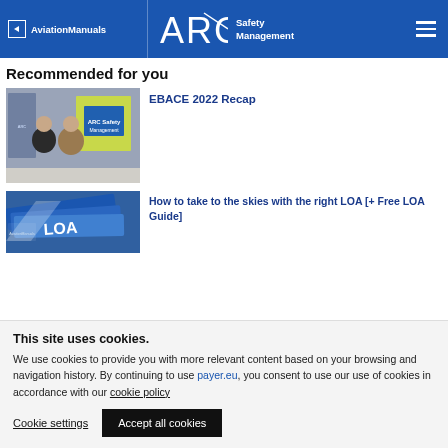AviationManuals | ARC Safety Management
Recommended for you
[Figure (photo): Two men standing at an ARC Safety Management trade show booth]
EBACE 2022 Recap
[Figure (photo): Blue LOA guidebooks/folders stacked]
How to take to the skies with the right LOA [+ Free LOA Guide]
This site uses cookies. We use cookies to provide you with more relevant content based on your browsing and navigation history. By continuing to use payer.eu, you consent to use our use of cookies in accordance with our cookie policy
Cookie settings | Accept all cookies